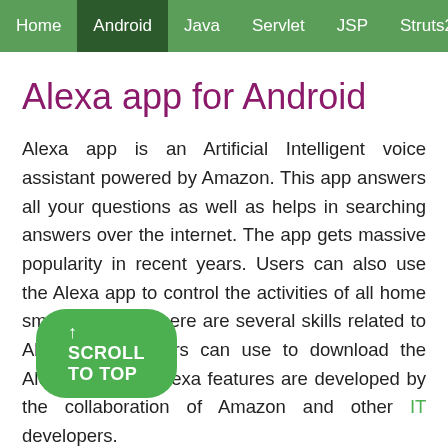Home  Android  Java  Servlet  JSP  Struts2
Alexa app for Android
Alexa app is an Artificial Intelligent voice assistant powered by Amazon. This app answers all your questions as well as helps in searching answers over the internet. The app gets massive popularity in recent years. Users can also use the Alexa app to control the activities of all home smart devices. There are several skills related to Alexa, which users can use to download the Alexa app. The Alexa features are developed by the collaboration of Amazon and other IT developers.
A offers 75,000 skills with different ctivate your Alexa device, you
↑ SCROLL TO TOP